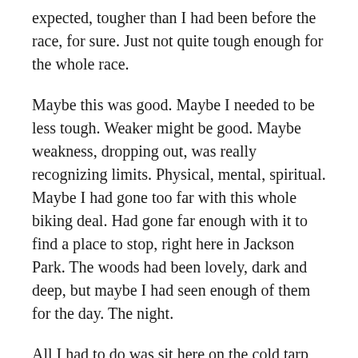expected, tougher than I had been before the race, for sure. Just not quite tough enough for the whole race.
Maybe this was good. Maybe I needed to be less tough. Weaker might be good. Maybe weakness, dropping out, was really recognizing limits. Physical, mental, spiritual. Maybe I had gone too far with this whole biking deal. Had gone far enough with it to find a place to stop, right here in Jackson Park. The woods had been lovely, dark and deep, but maybe I had seen enough of them for the day. The night.
All I had to do was sit here on the cold tarp, shivering, till 2:01. Let the volunteers tell me, sorry, you can't leave. I'd be happy with doing eighty percent of the race. I checked the time on my bike computer: 1:15. Late as hell. Someone had left a